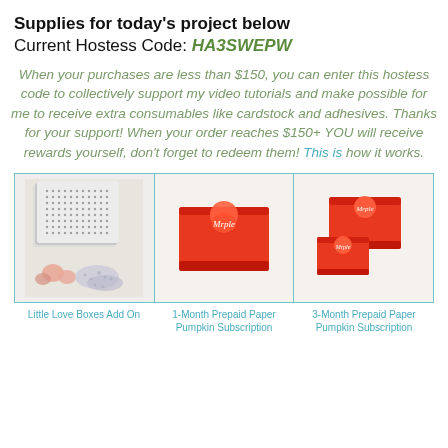Supplies for today's project below
Current Hostess Code: HA3SWEPW
When your purchases are less than $150, you can enter this hostess code to collectively support my video tutorials and make possible for me to receive extra consumables like cardstock and adhesives. Thanks for your support! When your order reaches $150+ YOU will receive rewards yourself, don't forget to redeem them! This is how it works.
[Figure (photo): Product image: Little Love Boxes Add On - sheets of perforated/dotted paper and small pink heart shapes]
[Figure (photo): Product image: 1-Month Prepaid Paper Pumpkin Subscription - red box with Stampin' Up logo]
[Figure (photo): Product image: 3-Month Prepaid Paper Pumpkin Subscription - two red boxes with Stampin' Up logos]
Little Love Boxes Add On
1-Month Prepaid Paper Pumpkin Subscription
3-Month Prepaid Paper Pumpkin Subscription